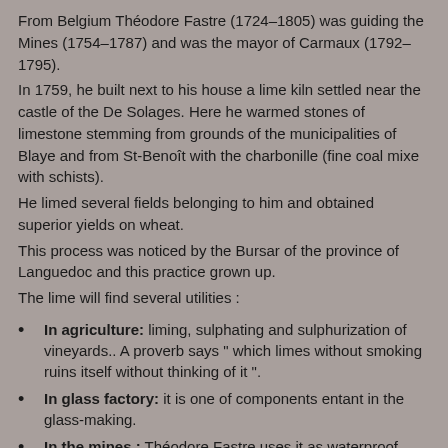From Belgium Théodore Fastre (1724–1805) was guiding the Mines (1754–1787) and was the mayor of Carmaux (1792–1795).
In 1759, he built next to his house a lime kiln settled near the castle of the De Solages. Here he warmed stones of limestone stemming from grounds of the municipalities of Blaye and from St-Benoît with the charbonille (fine coal mixe with schists).
He limed several fields belonging to him and obtained superior yields on wheat.
This process was noticed by the Bursar of the province of Languedoc and this practice grown up.
The lime will find several utilities :
In agriculture: liming, sulphating and sulphurization of vineyards.. A proverb says " which limes without smoking ruins itself without thinking of it ".
In glass factory: it is one of components entant in the glass-making.
In the mines : Théodore Fastre uses it as waterproof cover